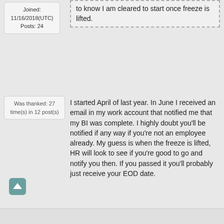Joined: 11/16/2018(UTC)
Posts: 24
to know I am cleared to start once freeze is lifted.
Was thanked: 27 time(s) in 12 post(s)
I started April of last year. In June I received an email in my work account that notified me that my BI was complete. I highly doubt you'll be notified if any way if you're not an employee already. My guess is when the freeze is lifted, HR will look to see if you're good to go and notify you then. If you passed it you'll probably just receive your EOD date.